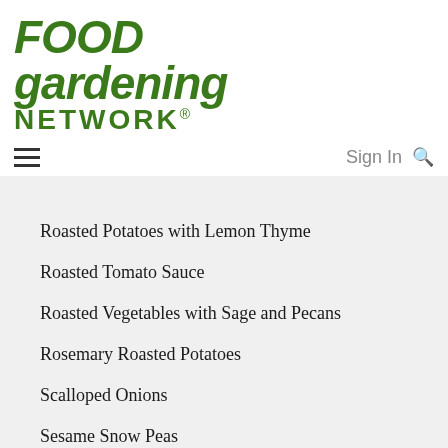[Figure (logo): Food Gardening Network logo in dark green bold italic text]
≡   Sign In 🔍
Roasted Potatoes with Lemon Thyme
Roasted Tomato Sauce
Roasted Vegetables with Sage and Pecans
Rosemary Roasted Potatoes
Scalloped Onions
Sesame Snow Peas
Simple Butternut Squash Casserole
Simple Roasted Beets
Skillet Scallions
Skinny Broccoli, Cauliflower, and Ham